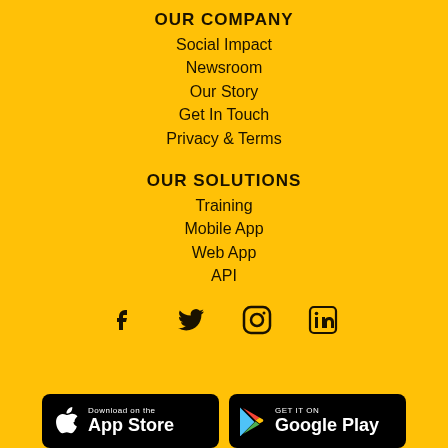OUR COMPANY
Social Impact
Newsroom
Our Story
Get In Touch
Privacy & Terms
OUR SOLUTIONS
Training
Mobile App
Web App
API
[Figure (infographic): Social media icons: Facebook, Twitter, Instagram, LinkedIn]
[Figure (infographic): App store badges: Download on the App Store and GET IT ON Google Play]